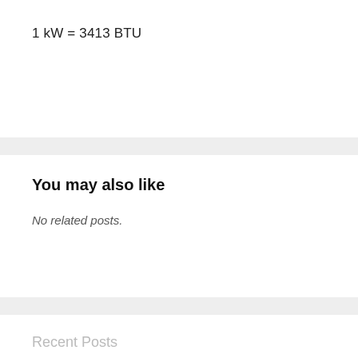You may also like
No related posts.
Recent Posts